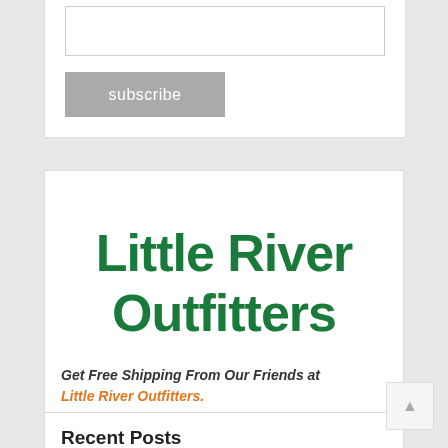[Figure (other): Input text box for email subscribe form]
subscribe
[Figure (logo): Little River Outfitters logo — green stylized text on white background]
Get Free Shipping From Our Friends at Little River Outfitters.
Recent Posts